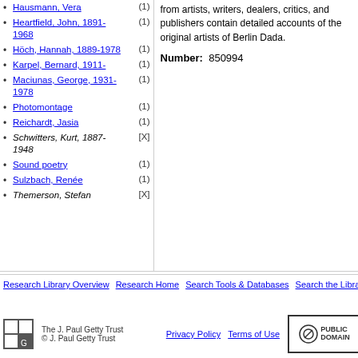Hausmann, Vera (1)
Heartfield, John, 1891-1968 (1)
Höch, Hannah, 1889-1978 (1)
Karpel, Bernard, 1911- (1)
Maciunas, George, 1931-1978 (1)
Photomontage (1)
Reichardt, Jasia (1)
Schwitters, Kurt, 1887-1948 [X]
Sound poetry (1)
Sulzbach, Renée (1)
Themerson, Stefan [X]
from artists, writers, dealers, critics, and publishers contain detailed accounts of the original artists of Berlin Dada.
Number: 850994
Research Library Overview  Research Home  Search Tools & Databases  Search the Library Catalog  Correction Form
The J. Paul Getty Trust © J. Paul Getty Trust
Privacy Policy  Terms of Use